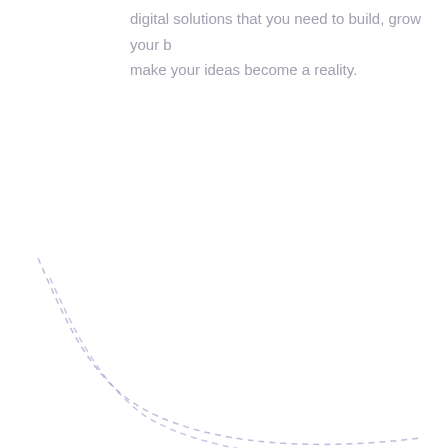digital solutions that you need to build, grow your make your ideas become a reality.
[Figure (illustration): Decorative dashed curved arc in light blue-purple color, sweeping from upper-left to lower-right in the bottom-left corner of the page.]